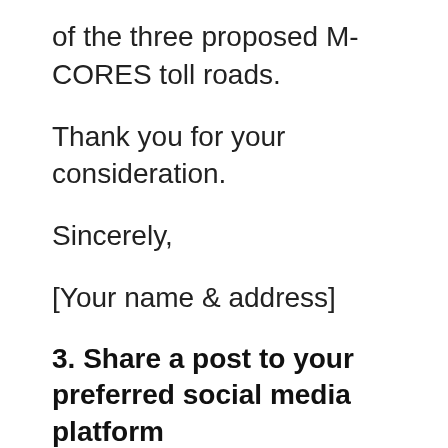of the three proposed M-CORES toll roads.
Thank you for your consideration.
Sincerely,
[Your name & address]
3. Share a post to your preferred social media platform
Note: Please use the